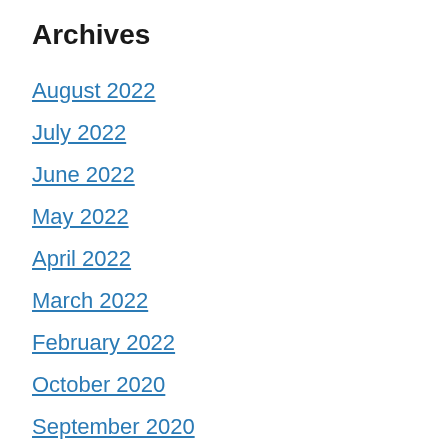Archives
August 2022
July 2022
June 2022
May 2022
April 2022
March 2022
February 2022
October 2020
September 2020
August 2020
July 2020
June 2020